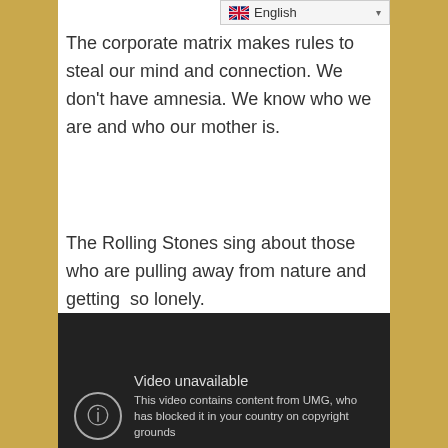The corporate matrix makes rules to steal our mind and connection. We don’t have amnesia. We know who we are and who our mother is.
The Rolling Stones sing about those who are pulling away from nature and getting  so lonely.
[Figure (screenshot): Video unavailable message on dark background. Circle with exclamation mark icon. Text reads: 'Video unavailable. This video contains content from UMG, who has blocked it in your country on copyright grounds']